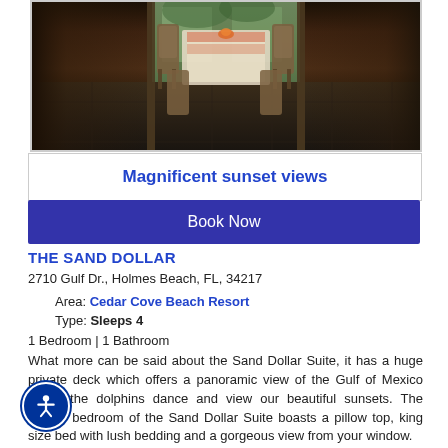[Figure (photo): Interior photo of a beach cottage porch/deck with wicker chairs and a dining table, viewed from inside looking out toward greenery and water in the background. Dark, warm-toned lighting.]
Magnificent sunset views
Book Now
THE SAND DOLLAR
2710 Gulf Dr., Holmes Beach, FL, 34217
Area: Cedar Cove Beach Resort
Type: Sleeps 4
1 Bedroom | 1 Bathroom
What more can be said about the Sand Dollar Suite, it has a huge private deck which offers a panoramic view of the Gulf of Mexico watch the dolphins dance and view our beautiful sunsets. The private bedroom of the Sand Dollar Suite boasts a pillow top, king size bed with lush bedding and a gorgeous view from your window.